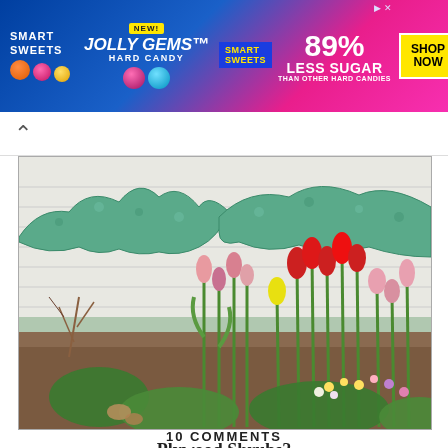[Figure (photo): Smart Sweets Jolly Gems Hard Candy advertisement banner — 89% Less Sugar than other hard candies, with Shop Now button]
[Figure (photo): Garden photo showing colorful tulips (red, pink, yellow) in bloom in front of a house with teal/green painted plywood cutout shrubs in the background]
Plywood Shrubs?
10 COMMENTS